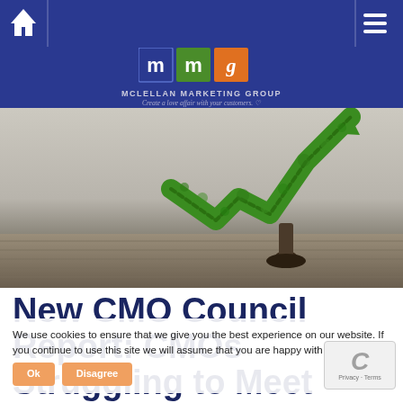McLellan Marketing Group navigation bar with home and menu icons
[Figure (logo): McLellan Marketing Group logo with three colored squares (blue M, green M, orange g) and tagline 'Create a love affair with your customers.']
[Figure (photo): Hero image showing a green tree/plant shaped like a rising stock market chart arrow against a gray wall background with wooden floor]
New CMO Council Report: CMOs Struggling to Meet
We use cookies to ensure that we give you the best experience on our website. If you continue to use this site we will assume that you are happy with it.